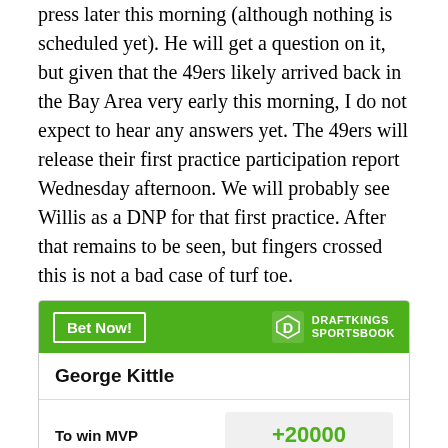press later this morning (although nothing is scheduled yet). He will get a question on it, but given that the 49ers likely arrived back in the Bay Area very early this morning, I do not expect to hear any answers yet. The 49ers will release their first practice participation report Wednesday afternoon. We will probably see Willis as a DNP for that first practice. After that remains to be seen, but fingers crossed this is not a bad case of turf toe.
| Player | Market | Odds |
| --- | --- | --- |
| George Kittle | To win MVP | +20000 |
| George Kittle | To win Offensive Player of | +10000 |